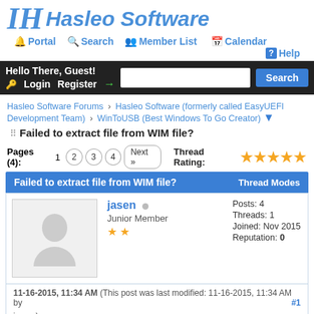[Figure (logo): Hasleo Software logo with IH letters and italic blue text]
Portal | Search | Member List | Calendar | Help
Hello There, Guest! Login Register | Search
Hasleo Software Forums › Hasleo Software (formerly called EasyUEFI Development Team) › WinToUSB (Best Windows To Go Creator)
Failed to extract file from WIM file?
Pages (4): 1  2  3  4  Next »   Thread Rating: ★★★★★
Failed to extract file from WIM file?   Thread Modes
jasen  Junior Member  ★★  Posts: 4  Threads: 1  Joined: Nov 2015  Reputation: 0
11-16-2015, 11:34 AM (This post was last modified: 11-16-2015, 11:34 AM by jasen.)  #1